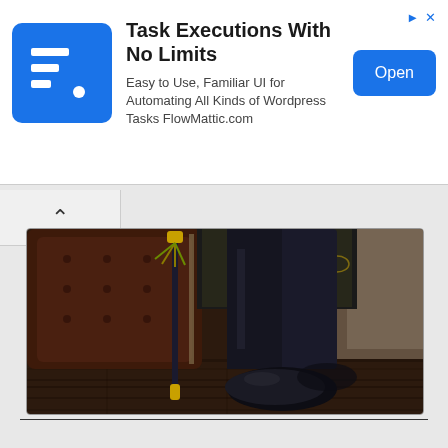[Figure (screenshot): Advertisement banner for FlowMattic.com - Task Executions With No Limits. Shows app logo (blue square with white letter F), title text, subtitle about Wordpress automation, and blue Open button. Small ad icons in top right corner.]
[Figure (photo): Fashion photograph showing lower body of a person seated on a dark brown tufted leather armchair. The person wears black dress trousers and glossy black dress shoes. A cane or umbrella with gold/yellow tassel detailing leans against the chair. Dark hardwood floor visible. Person wearing ornate gold/black patterned jacket visible at top.]